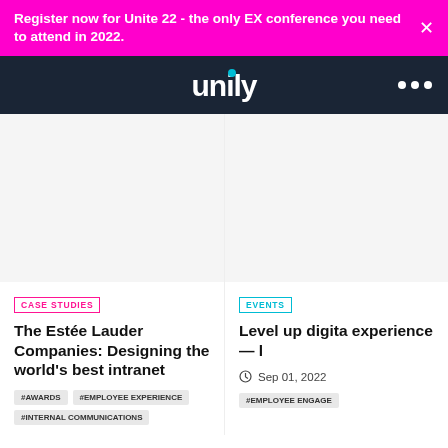Register now for Unite 22 - the only EX conference you need to attend in 2022.
[Figure (logo): Unily logo in white on dark navy navigation bar with three-dot menu icon]
[Figure (photo): Left article card image placeholder - blank/white]
CASE STUDIES
The Estée Lauder Companies: Designing the world's best intranet
#AWARDS #EMPLOYEE EXPERIENCE
#INTERNAL COMMUNICATIONS
[Figure (photo): Right article card image placeholder - blank/white]
EVENTS
Level up digita... experience — l...
Sep 01, 2022
#EMPLOYEE ENGAGE...